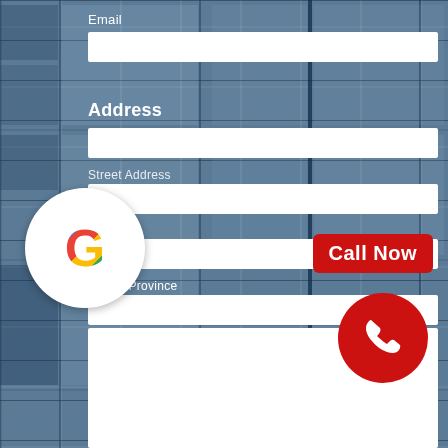Email
Address
Street Address
City
State / Province
ZIP / Postal Code
sage
Call Now